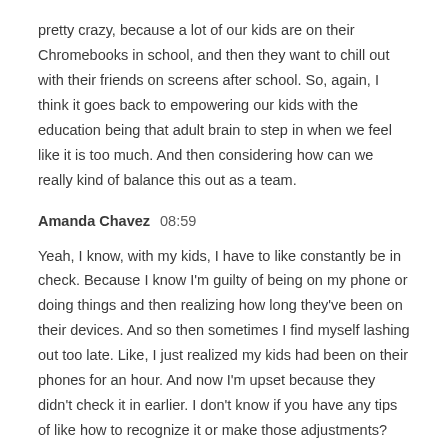pretty crazy, because a lot of our kids are on their Chromebooks in school, and then they want to chill out with their friends on screens after school. So, again, I think it goes back to empowering our kids with the education being that adult brain to step in when we feel like it is too much. And then considering how can we really kind of balance this out as a team.
Amanda Chavez  08:59
Yeah, I know, with my kids, I have to like constantly be in check. Because I know I'm guilty of being on my phone or doing things and then realizing how long they've been on their devices. And so then sometimes I find myself lashing out too late. Like, I just realized my kids had been on their phones for an hour. And now I'm upset because they didn't check it in earlier. I don't know if you have any tips of like how to recognize it or make those adjustments?